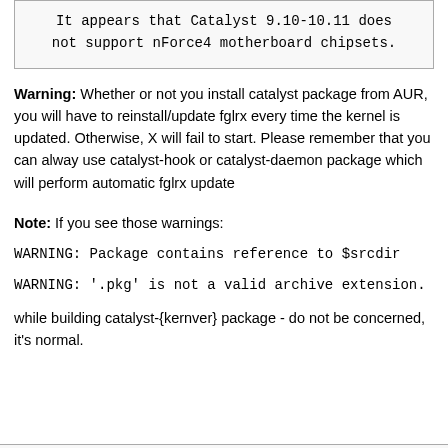It appears that Catalyst 9.10-10.11 does not support nForce4 motherboard chipsets.
Warning: Whether or not you install catalyst package from AUR, you will have to reinstall/update fglrx every time the kernel is updated. Otherwise, X will fail to start. Please remember that you can alway use catalyst-hook or catalyst-daemon package which will perform automatic fglrx update
Note: If you see those warnings:
WARNING: Package contains reference to $srcdir
WARNING: '.pkg' is not a valid archive extension.
while building catalyst-{kernver} package - do not be concerned, it's normal.